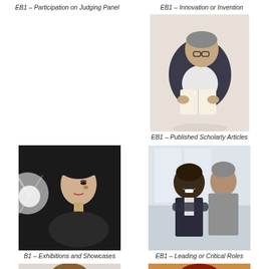EB1 – Participation on Judging Panel
EB1 – Innovation or Invention
[Figure (photo): Man in suit reading a book]
EB1 – Published Scholarly Articles
[Figure (photo): Woman with dramatic lighting, black and white photo]
[Figure (photo): Two businessmen in suits]
B1 – Exhibitions and Showcases
EB1 – Leading or Critical Roles
[Figure (photo): Smiling young man]
[Figure (photo): Young woman with auburn hair posing]